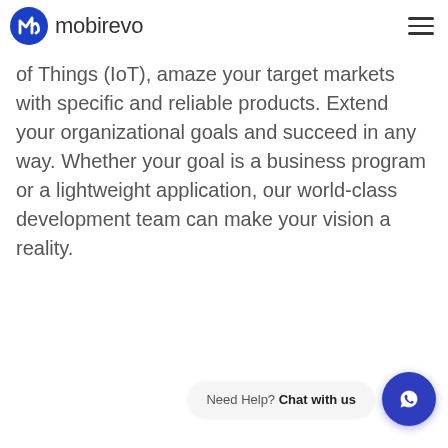mobirevo
of Things (IoT), amaze your target markets with specific and reliable products. Extend your organizational goals and succeed in any way. Whether your goal is a business program or a lightweight application, our world-class development team can make your vision a reality.
Need Help? Chat with us